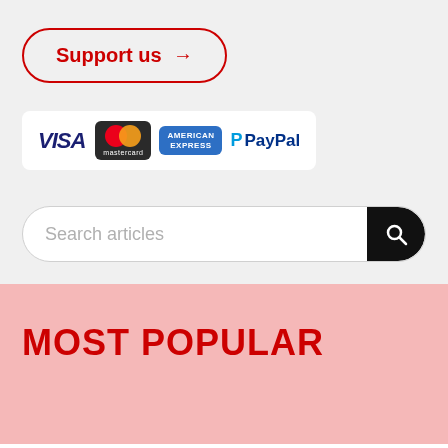[Figure (infographic): Support us button with red border and arrow, followed by payment method logos: VISA, Mastercard, American Express, PayPal]
Search articles
MOST POPULAR